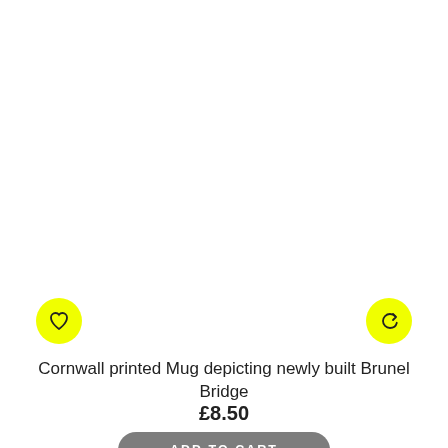[Figure (other): Yellow circular heart/wishlist icon button on the left side]
[Figure (other): Yellow circular refresh/compare icon button on the right side]
Cornwall printed Mug depicting newly built Brunel Bridge
£8.50
ADD TO CART